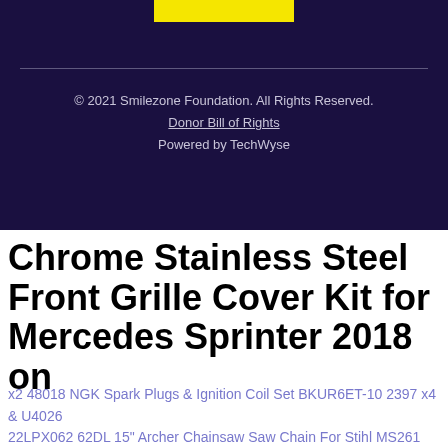[Figure (other): Yellow bar at top of dark purple/navy footer section]
© 2021 Smilezone Foundation. All Rights Reserved.
Donor Bill of Rights
Powered by TechWyse
Chrome Stainless Steel Front Grille Cover Kit for Mercedes Sprinter 2018 on
x2 48018 NGK Spark Plugs & Ignition Coil Set BKUR6ET-10 2397 x4 & U4026
22LPX062 62DL 15" Archer Chainsaw Saw Chain For Stihl MS261 VW
Gamewright Strategy And Maths Skills Sleeping Queens